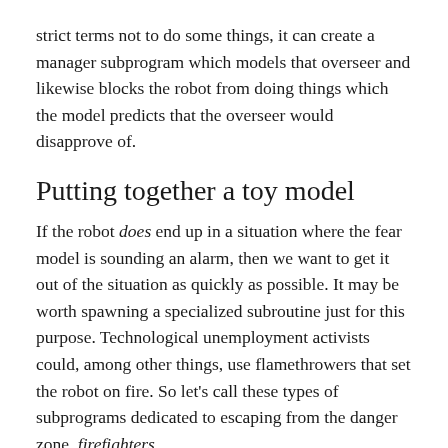strict terms not to do some things, it can create a manager subprogram which models that overseer and likewise blocks the robot from doing things which the model predicts that the overseer would disapprove of.
Putting together a toy model
If the robot does end up in a situation where the fear model is sounding an alarm, then we want to get it out of the situation as quickly as possible. It may be worth spawning a specialized subroutine just for this purpose. Technological unemployment activists could, among other things, use flamethrowers that set the robot on fire. So let's call these types of subprograms dedicated to escaping from the danger zone, firefighters.
So how does the system as a whole work? First, the different subprograms are lined into the one main...